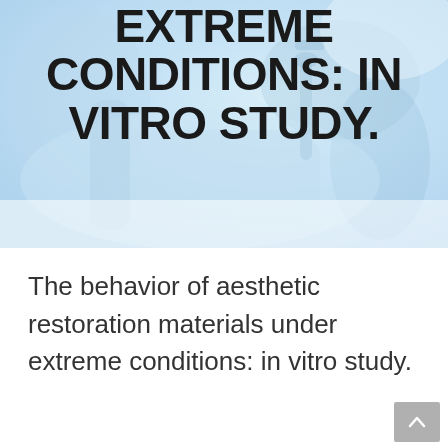[Figure (photo): Blurred dental clinic background image showing a patient chair and dental equipment in light blue tones]
EXTREME CONDITIONS: IN VITRO STUDY.
The behavior of aesthetic restoration materials under extreme conditions: in vitro study.